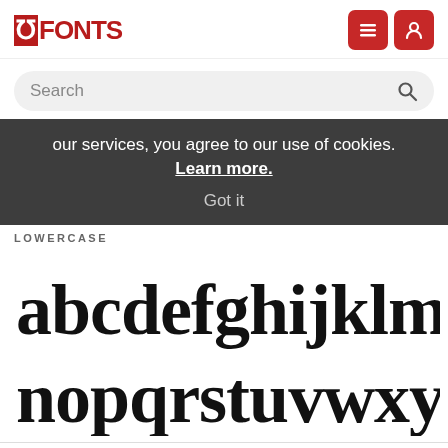FFONTS
Search
our services, you agree to our use of cookies. Learn more. Got it
LOWERCASE
[Figure (illustration): Custom decorative font lowercase alphabet displayed in two rows: 'abcdefghijklm' and 'nopqrstuvwxyz' in a bold rounded black typeface]